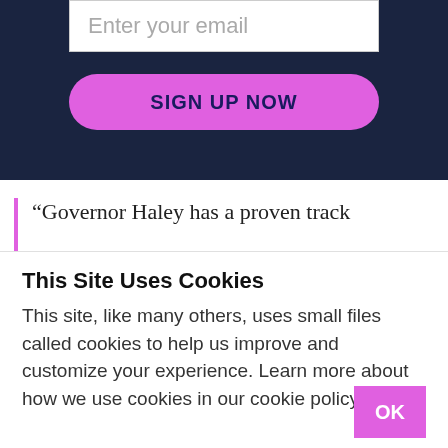[Figure (screenshot): Dark navy blue email signup form with an email input field showing placeholder text 'Enter your email' and a pink rounded button labeled 'SIGN UP NOW']
“Governor Haley has a proven track
This Site Uses Cookies
This site, like many others, uses small files called cookies to help us improve and customize your experience. Learn more about how we use cookies in our cookie policy.
OK